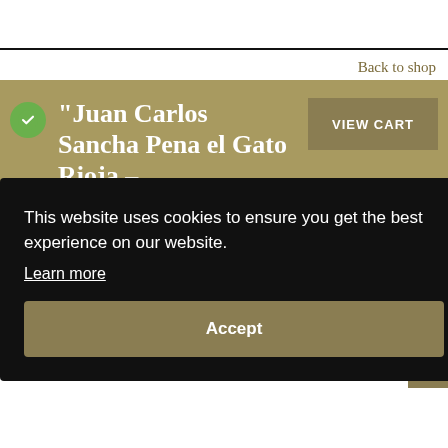Back to shop
"Juan Carlos Sancha Pena el Gato Rioja – Garnacha Vinos Centenarios
VIEW CART
This website uses cookies to ensure you get the best experience on our website.
Learn more
Accept